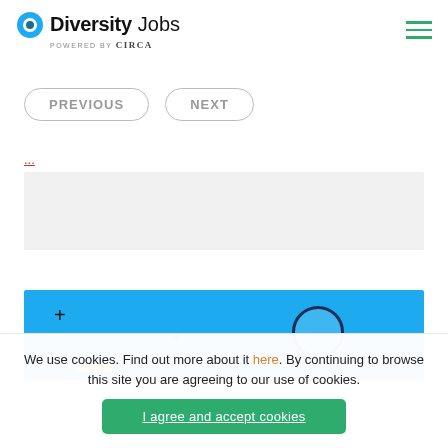[Figure (logo): DiversityJobs logo with teal circle icon, bold 'Diversity' and regular 'Jobs' text, 'POWERED BY Circa' subtext]
[Figure (other): Hamburger menu icon with three green horizontal lines]
[Figure (other): Two rounded pill-shaped navigation buttons: PREVIOUS and NEXT, in gray outline style]
...
[Figure (other): Light gray empty rectangular box (ad/content placeholder)]
[Figure (other): Blue banner with plus signs, a yellow rectangle, and a circle outline graphic]
We use cookies. Find out more about it here. By continuing to browse this site you are agreeing to our use of cookies.
I agree and accept cookies